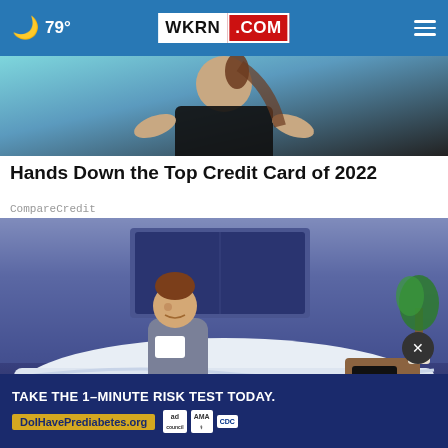🌙 79° | WKRN.COM | ≡
[Figure (photo): Cropped photo showing a person in a black v-neck top, with teal/blue background]
Hands Down the Top Credit Card of 2022
CompareCredit
[Figure (illustration): Cartoon illustration of a man in gray clothes sitting on a bed at night, digital clock showing 01:37, plant in background, prediabetes advertisement banner at bottom reading TAKE THE 1-MINUTE RISK TEST TODAY. with DolHavePrediabetes.org]
TAKE THE 1-MINUTE RISK TEST TODAY.
DoIHavePrediabetes.org